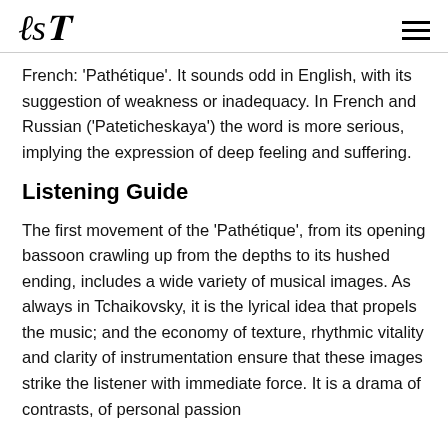LSO
French: 'Pathétique'. It sounds odd in English, with its suggestion of weakness or inadequacy. In French and Russian ('Pateticheskaya') the word is more serious, implying the expression of deep feeling and suffering.
Listening Guide
The first movement of the 'Pathétique', from its opening bassoon crawling up from the depths to its hushed ending, includes a wide variety of musical images. As always in Tchaikovsky, it is the lyrical idea that propels the music; and the economy of texture, rhythmic vitality and clarity of instrumentation ensure that these images strike the listener with immediate force. It is a drama of contrasts, of personal passion